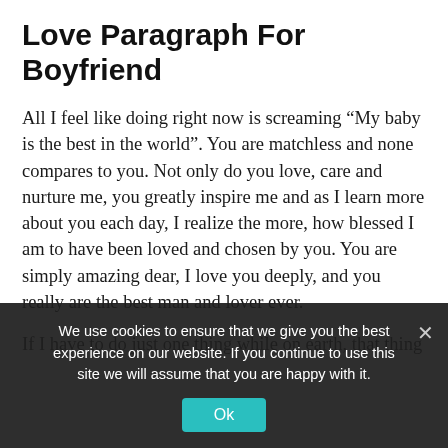Love Paragraph For Boyfriend
All I feel like doing right now is screaming “My baby is the best in the world”. You are matchless and none compares to you. Not only do you love, care and nurture me, you greatly inspire me and as I learn more about you each day, I realize the more, how blessed I am to have been loved and chosen by you. You are simply amazing dear, I love you deeply, and you really are the best man and lover ever.
If I have to do just one thing while on earth, that thing would be to …
We use cookies to ensure that we give you the best experience on our website. If you continue to use this site we will assume that you are happy with it.